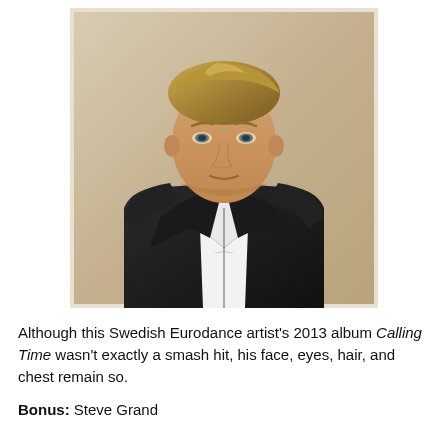[Figure (photo): Portrait photo of a young blonde man in a dark leather jacket over a white shirt, photographed against a beige/cream textured wall background.]
Although this Swedish Eurodance artist's 2013 album Calling Time wasn't exactly a smash hit, his face, eyes, hair, and chest remain so.
Bonus: Steve Grand